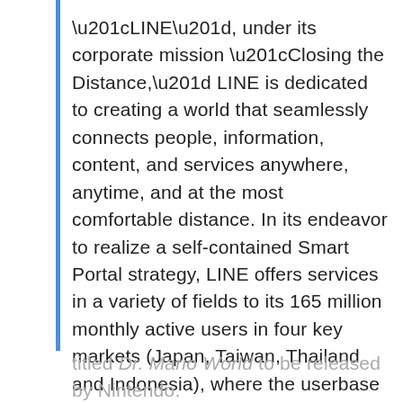“LINE”, under its corporate mission “Closing the Distance,” LINE is dedicated to creating a world that seamlessly connects people, information, content, and services anywhere, anytime, and at the most comfortable distance. In its endeavor to realize a self-contained Smart Portal strategy, LINE offers services in a variety of fields to its 165 million monthly active users in four key markets (Japan, Taiwan, Thailand and Indonesia), where the userbase continues to expand.  Utilizing both companies’ strengths, Nintendo and LINE will co-develop and jointly operate a new action puzzle game featuring Dr. Mario titled Dr. Mario World to be released by Nintendo.